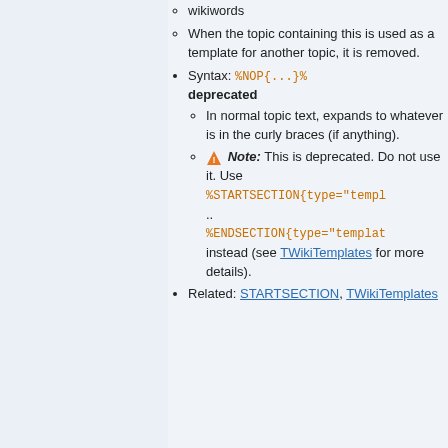wikiwords
When the topic containing this is used as a template for another topic, it is removed.
Syntax: %NOP{...}% deprecated
In normal topic text, expands to whatever is in the curly braces (if anything).
Note: This is deprecated. Do not use it. Use %STARTSECTION{type="templ} .. %ENDSECTION{type="templat} instead (see TWikiTemplates for more details).
Related: STARTSECTION, TWikiTemplates